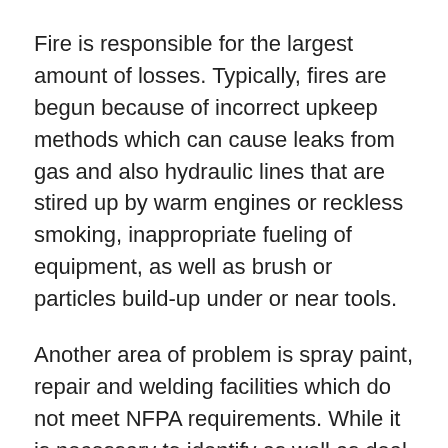Fire is responsible for the largest amount of losses. Typically, fires are begun because of incorrect upkeep methods which can cause leaks from gas and also hydraulic lines that are stired up by warm engines or reckless smoking, inappropriate fueling of equipment, as well as brush or particles build-up under or near tools.
Another area of problem is spray paint, repair and welding facilities which do not meet NFPA requirements. While it is necessary to identify as well as deal with these troubles it is likewise essential to have public and/or private security available to produce fires should they happen. In enhancement to maintaining an intermediary with fire departments near task and storage space websites, fire extinguishers of the correct size as well as type must